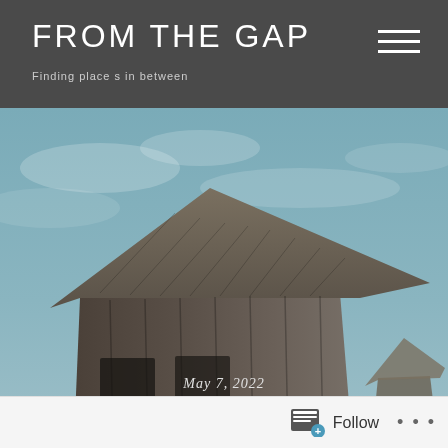FROM THE GAP — Finding places in between
[Figure (photo): An old weathered wooden barn tilting to one side, set in a flat prairie landscape with dry golden grass in the foreground and a cloudy blue sky behind. The barn structure is collapsing inward. Overlaid text reads 'May 7, 2022' and 'Home' with a circle-chevron icon below.]
Home
May 7, 2022
Home
Follow • • •